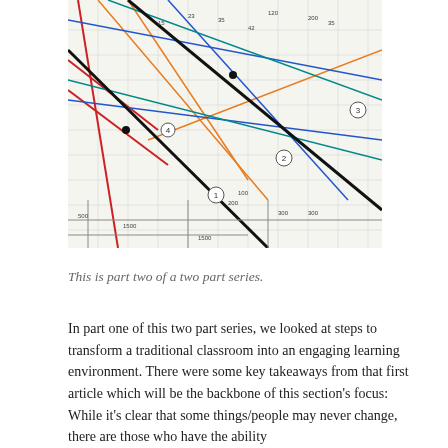[Figure (engineering-diagram): A photograph of a complex engineering or architectural drawing/blueprint with multiple colored lines (red, blue, orange, black, teal) crossing a grid, with numbered circles and dimension annotations.]
This is part two of a two part series.
In part one of this two part series, we looked at steps to transform a traditional classroom into an engaging learning environment. There were some key takeaways from that first article which will be the backbone of this section's focus: While it's clear that some things/people may never change, there are those who have the ability